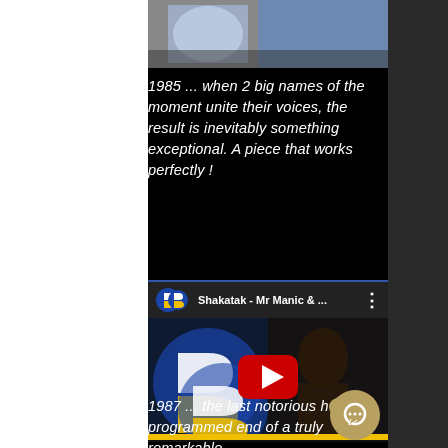[Figure (photo): Top partial image showing a colorful artwork or illustration with blue tones]
1985 ... when 2 big names of the moment unite their voices, the result is inevitably something exceptional. A piece that works perfectly !
[Figure (screenshot): YouTube video embed showing 'Shakatak - Mr Manic & ...' with YouTube play button overlay and channel logo]
1987 ... the last notorious h... programmed end of a truly remarkable